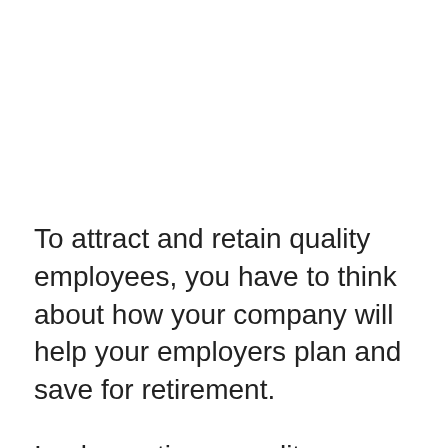To attract and retain quality employees, you have to think about how your company will help your employers plan and save for retirement.
Implementing a quality retirement program isn't as easy as it sounds. There are a lot of options out there, each having its own particular set of advantages and drawbacks. If